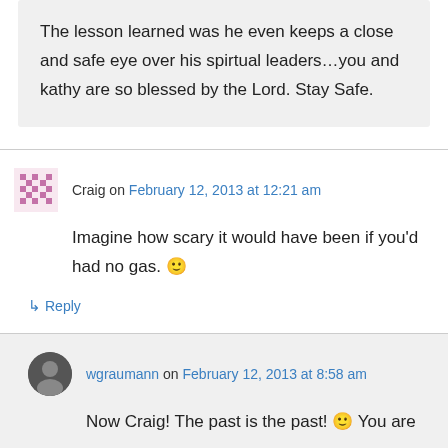The lesson learned was he even keeps a close and safe eye over his spirtual leaders…you and kathy are so blessed by the Lord. Stay Safe.
Craig on February 12, 2013 at 12:21 am
Imagine how scary it would have been if you'd had no gas. 🙂
↳ Reply
wgraumann on February 12, 2013 at 8:58 am
Now Craig! The past is the past! 🙂 You are